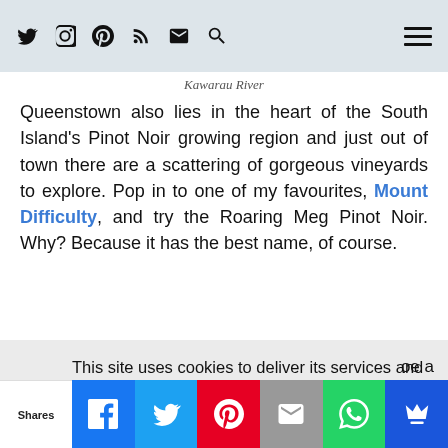Navigation bar with social icons (Twitter, Instagram, Pinterest, RSS, Email, Search) and hamburger menu
Kawarau River
Queenstown also lies in the heart of the South Island's Pinot Noir growing region and just out of town there are a scattering of gorgeous vineyards to explore. Pop in to one of my favourites, Mount Difficulty, and try the Roaring Meg Pinot Noir. Why? Because it has the best name, of course.
This site uses cookies to deliver its services and to analyse traffic. By using this site, you agree to its use of cookies. Learn more
OK